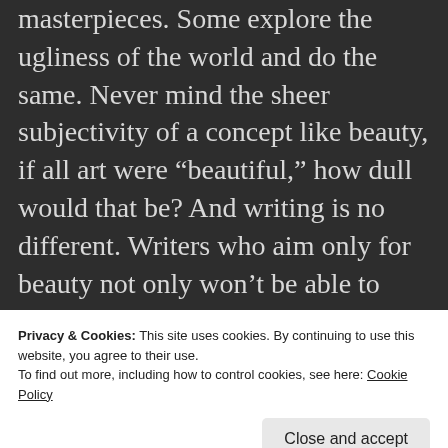masterpieces. Some explore the ugliness of the world and do the same. Never mind the sheer subjectivity of a concept like beauty, if all art were “beautiful,” how dull would that be? And writing is no different. Writers who aim only for beauty not only won’t be able to “Keep it Interesting,” but will also lose most of the humanity they’re supposed to be finding. Focusing on
Privacy & Cookies: This site uses cookies. By continuing to use this website, you agree to their use.
To find out more, including how to control cookies, see here: Cookie Policy
Creative and artistic pursuits are